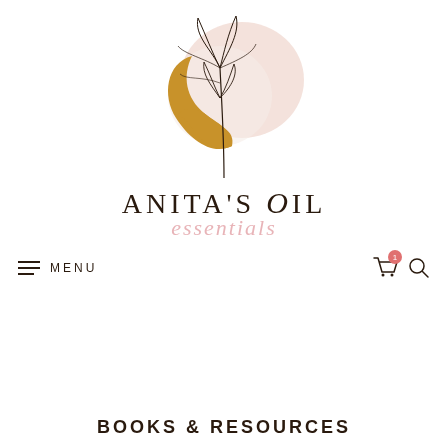[Figure (logo): Anita's Oil Essentials logo featuring abstract botanical illustration with golden crescent shape, blush circle, and hand-drawn plant stems, above the brand name 'ANITA'S OIL essentials']
≡ MENU | cart (1) 🔍
BOOKS & RESOURCES